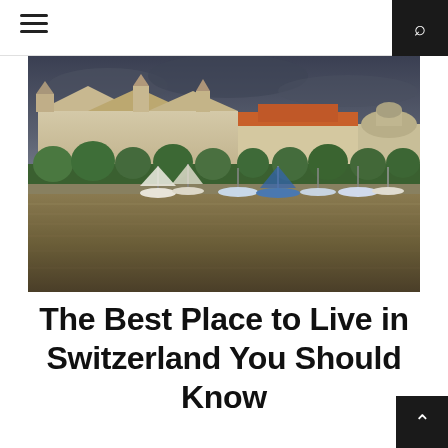Navigation header with hamburger menu and search icon
[Figure (photo): Waterfront cityscape of a Swiss city (likely Zurich) showing grand European buildings with orange-tiled roofs, green trees lining the promenade, sailboats moored on a calm lake, and a dramatic dark sky above.]
The Best Place to Live in Switzerland You Should Know